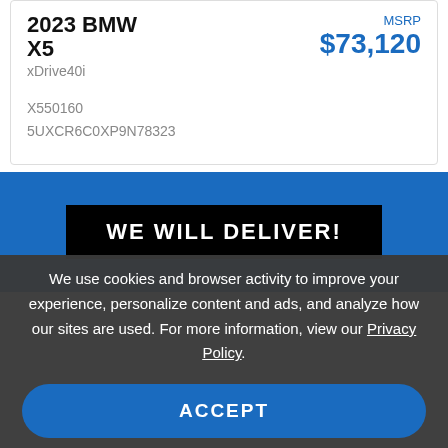2023 BMW X5
xDrive40i
MSRP $73,120
X550160
5UXCR6C0XP9N78323
WE WILL DELIVER!
We use cookies and browser activity to improve your experience, personalize content and ads, and analyze how our sites are used. For more information, view our Privacy Policy.
ACCEPT